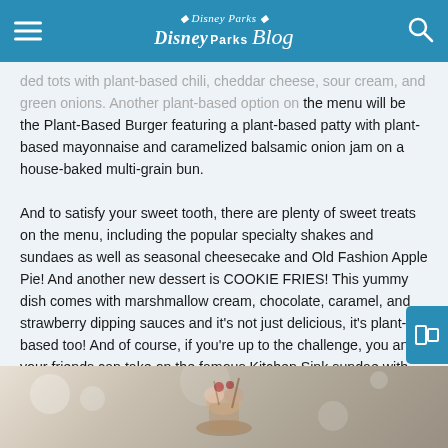Disney Parks Blog
ded tots with plant-based chili, cheddar cheese, sour cream, and green onions. Another plant-based option on the menu will be the Plant-Based Burger featuring a plant-based patty with plant-based mayonnaise and caramelized balsamic onion jam on a house-baked multi-grain bun.
And to satisfy your sweet tooth, there are plenty of sweet treats on the menu, including the popular specialty shakes and sundaes as well as seasonal cheesecake and Old Fashion Apple Pie! And another new dessert is COOKIE FRIES! This yummy dish comes with marshmallow cream, chocolate, caramel, and strawberry dipping sauces and it's not just delicious, it's plant-based too! And of course, if you're up to the challenge, you and your friends can take on the famous Kitchen Sink sundae with scoops of vanilla, chocolate, strawberry, cookies and cream, and mint chocolate chip ice cream smothered in every topping available!
[Figure (photo): A dessert photo, likely showing the Kitchen Sink sundae or a specialty dessert item, with a blurred bokeh background in cream/silver tones]